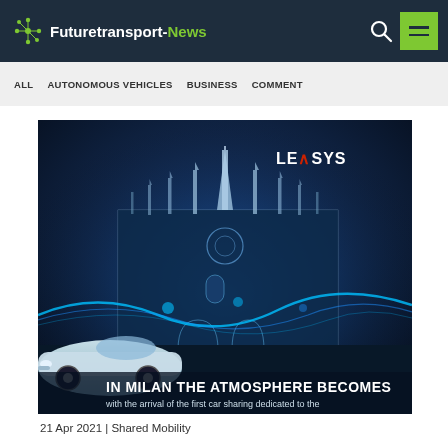Futuretransport-News
ALL   AUTONOMOUS VEHICLES   BUSINESS   COMMENT
[Figure (photo): Leasys advertisement showing Milan cathedral (Duomo) illuminated in blue light at night with a white electric Fiat 500 car in the foreground. Text reads: IN MILAN THE ATMOSPHERE BECOMES / with the arrival of the first car sharing dedicated to the]
21 Apr 2021 | Shared Mobility